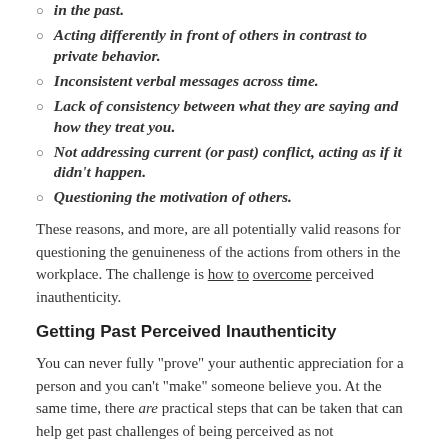in the past.
Acting differently in front of others in contrast to private behavior.
Inconsistent verbal messages across time.
Lack of consistency between what they are saying and how they treat you.
Not addressing current (or past) conflict, acting as if it didn't happen.
Questioning the motivation of others.
These reasons, and more, are all potentially valid reasons for questioning the genuineness of the actions from others in the workplace. The challenge is how to overcome perceived inauthenticity.
Getting Past Perceived Inauthenticity
You can never fully “prove” your authentic appreciation for a person and you can’t “make” someone believe you. At the same time, there are practical steps that can be taken that can help get past challenges of being perceived as not